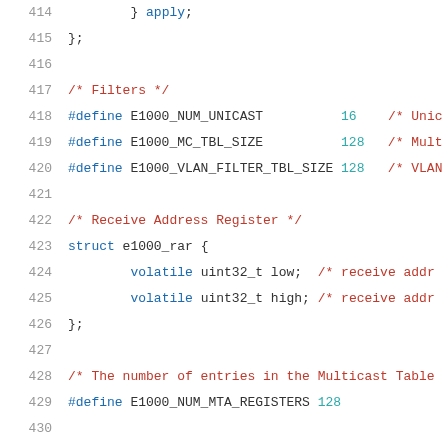414    } apply;
415    };
416
417    /* Filters */
418    #define E1000_NUM_UNICAST          16    /* Unic
419    #define E1000_MC_TBL_SIZE          128   /* Mult
420    #define E1000_VLAN_FILTER_TBL_SIZE 128   /* VLAN
421
422    /* Receive Address Register */
423    struct e1000_rar {
424            volatile uint32_t low;  /* receive addr
425            volatile uint32_t high; /* receive addr
426    };
427
428    /* The number of entries in the Multicast Table
429    #define E1000_NUM_MTA_REGISTERS 128
430
431    /* IPv4 Address Table Entry */
432    struct e1000_ipv4_at_entry {
433            volatile uint32_t ipv4_addr;     /* IP A
434            volatile uint32_t reserved;
435    };